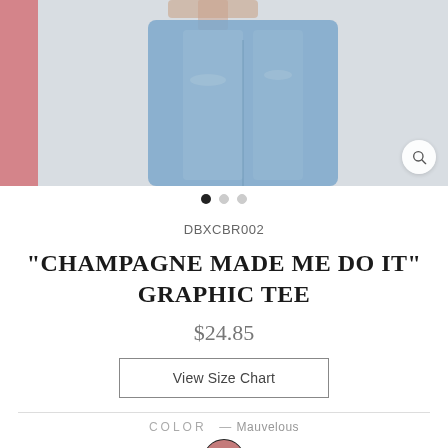[Figure (photo): Product photo showing a model wearing light blue jeans with a pink panel visible on the left side. A magnifying glass search icon appears in the bottom right corner of the main photo.]
DBXCBR002
"CHAMPAGNE MADE ME DO IT" GRAPHIC TEE
$24.85
View Size Chart
COLOR — Mauvelous